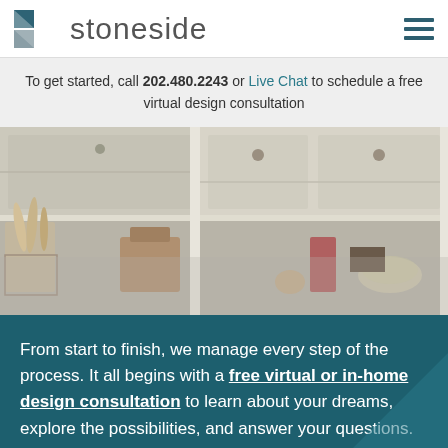stoneside
To get started, call 202.480.2243 or Live Chat to schedule a free virtual design consultation
[Figure (photo): Interior photo of gray/white cabinetry with decorative items including candles, a glass bowl, and organizational accessories on shelves and countertop]
From start to finish, we manage every step of the process. It all begins with a free virtual or in-home design consultation to learn about your dreams, explore the possibilities, and answer your questions.